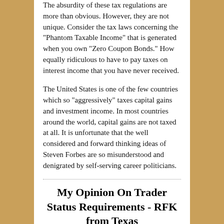The absurdity of these tax regulations are more than obvious. However, they are not unique. Consider the tax laws concerning the "Phantom Taxable Income" that is generated when you own "Zero Coupon Bonds." How equally ridiculous to have to pay taxes on interest income that you have never received.
The United States is one of the few countries which so "aggressively" taxes capital gains and investment income. In most countries around the world, capital gains are not taxed at all. It is unfortunate that the well considered and forward thinking ideas of Steven Forbes are so misunderstood and denigrated by self-serving career politicians.
My Opinion On Trader Status Requirements - RFK from Texas